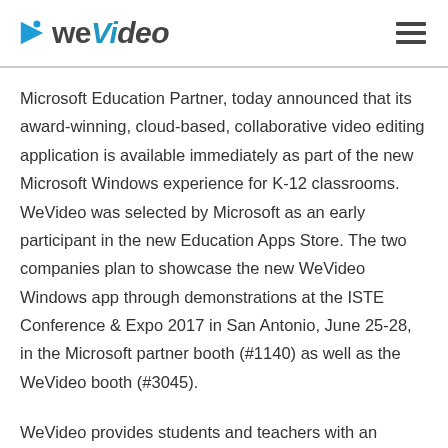WeVideo [logo]
Microsoft Education Partner, today announced that its award-winning, cloud-based, collaborative video editing application is available immediately as part of the new Microsoft Windows experience for K-12 classrooms. WeVideo was selected by Microsoft as an early participant in the new Education Apps Store. The two companies plan to showcase the new WeVideo Windows app through demonstrations at the ISTE Conference & Expo 2017 in San Antonio, June 25-28, in the Microsoft partner booth (#1140) as well as the WeVideo booth (#3045).
WeVideo provides students and teachers with an